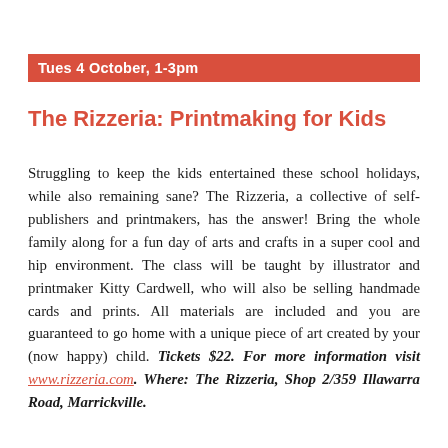Tues 4 October, 1-3pm
The Rizzeria: Printmaking for Kids
Struggling to keep the kids entertained these school holidays, while also remaining sane? The Rizzeria, a collective of self-publishers and printmakers, has the answer! Bring the whole family along for a fun day of arts and crafts in a super cool and hip environment. The class will be taught by illustrator and printmaker Kitty Cardwell, who will also be selling handmade cards and prints. All materials are included and you are guaranteed to go home with a unique piece of art created by your (now happy) child. Tickets $22. For more information visit www.rizzeria.com. Where: The Rizzeria, Shop 2/359 Illawarra Road, Marrickville.